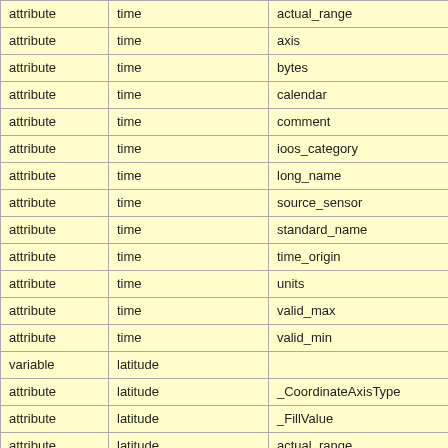|  |  |  |
| --- | --- | --- |
| attribute | time | actual_range |
| attribute | time | axis |
| attribute | time | bytes |
| attribute | time | calendar |
| attribute | time | comment |
| attribute | time | ioos_category |
| attribute | time | long_name |
| attribute | time | source_sensor |
| attribute | time | standard_name |
| attribute | time | time_origin |
| attribute | time | units |
| attribute | time | valid_max |
| attribute | time | valid_min |
| variable | latitude |  |
| attribute | latitude | _CoordinateAxisType |
| attribute | latitude | _FillValue |
| attribute | latitude | actual_range |
| attribute | latitude | axis |
| attribute | latitude | bytes |
| attribute | latitude | colorBarMaximum |